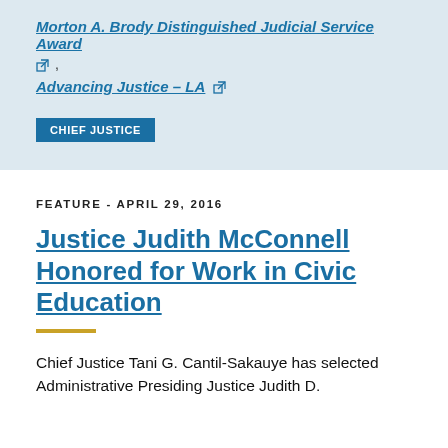Morton A. Brody Distinguished Judicial Service Award
Advancing Justice – LA
CHIEF JUSTICE
FEATURE - APRIL 29, 2016
Justice Judith McConnell Honored for Work in Civic Education
Chief Justice Tani G. Cantil-Sakauye has selected Administrative Presiding Justice Judith D.